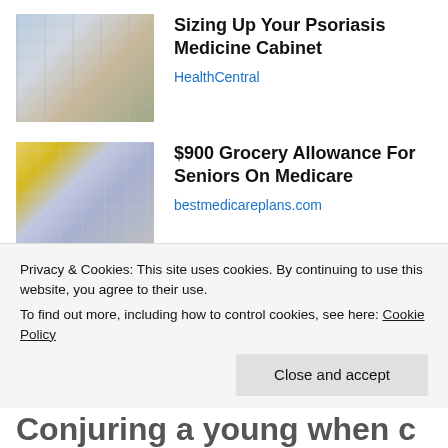[Figure (photo): Woman browsing pharmacy or store shelves, kneeling and looking at products]
Sizing Up Your Psoriasis Medicine Cabinet
HealthCentral
[Figure (photo): People shopping in a grocery store with carts]
$900 Grocery Allowance For Seniors On Medicare
bestmedicareplans.com
Privacy & Cookies: This site uses cookies. By continuing to use this website, you agree to their use.
To find out more, including how to control cookies, see here: Cookie Policy
Close and accept
Conjuring a young when c